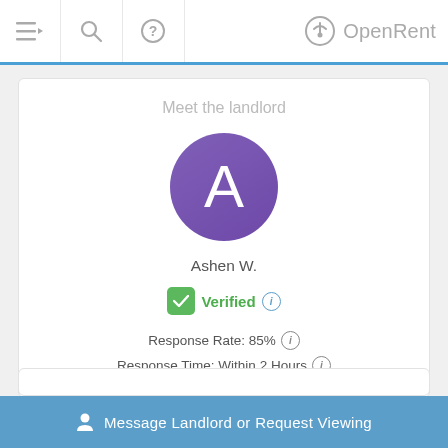OpenRent
Meet the landlord
[Figure (illustration): Purple circle avatar with white letter A, representing landlord Ashen W.]
Ashen W.
Verified
Response Rate: 85%
Response Time: Within 2 Hours
Message Landlord or Request Viewing